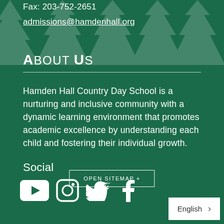Fax: 203-752-2651
admissions@hamdenhall.org
About Us
Hamden Hall Country Day School is a nurturing and inclusive community with a dynamic learning environment that promotes academic excellence by understanding each child and fostering their individual growth.
Social
[Figure (infographic): Social media icons: YouTube, Instagram, Twitter, Facebook]
OPEN SITEMAP +
English